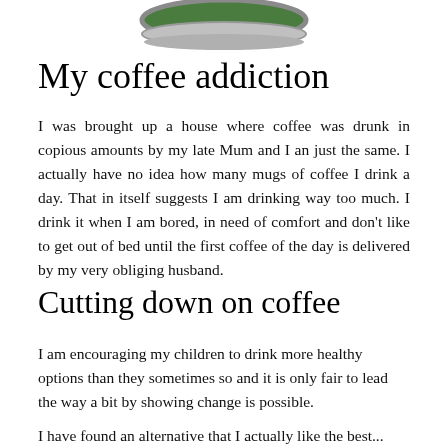[Figure (illustration): Bottom portion of a green and silver coffee tin/can, cropped at the top of the page]
My coffee addiction
I was brought up a house where coffee was drunk in copious amounts by my late Mum and I an just the same. I actually have no idea how many mugs of coffee I drink a day. That in itself suggests I am drinking way too much. I drink it when I am bored, in need of comfort and don’t like to get out of bed until the first coffee of the day is delivered by my very obliging husband.
Cutting down on coffee
I am encouraging my children to drink more healthy options than they sometimes so and it is only fair to lead the way a bit by showing change is possible.
I have found an alternative that I actually like the best...